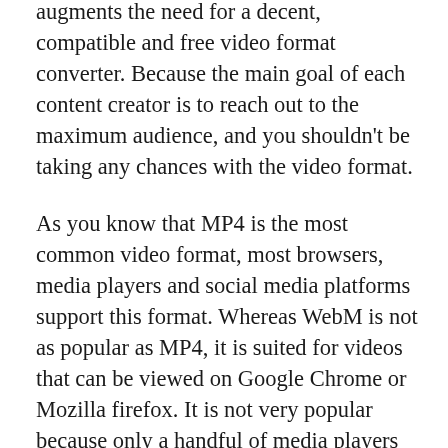augments the need for a decent, compatible and free video format converter. Because the main goal of each content creator is to reach out to the maximum audience, and you shouldn't be taking any chances with the video format.
As you know that MP4 is the most common video format, most browsers, media players and social media platforms support this format. Whereas WebM is not as popular as MP4, it is suited for videos that can be viewed on Google Chrome or Mozilla firefox. It is not very popular because only a handful of media players support this format, which creates a problem for a creator trying to reach out to the world. You will need a fair WebM to MP4 converter for your videos to deal with this issue.